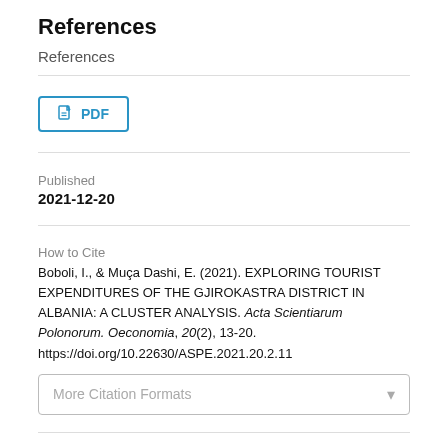References
References
[Figure (other): PDF download button with document icon and 'PDF' label, styled with a teal/blue border]
Published
2021-12-20
How to Cite
Boboli, I., & Muça Dashi, E. (2021). EXPLORING TOURIST EXPENDITURES OF THE GJIROKASTRA DISTRICT IN ALBANIA: A CLUSTER ANALYSIS. Acta Scientiarum Polonorum. Oeconomia, 20(2), 13-20. https://doi.org/10.22630/ASPE.2021.20.2.11
More Citation Formats
Issue